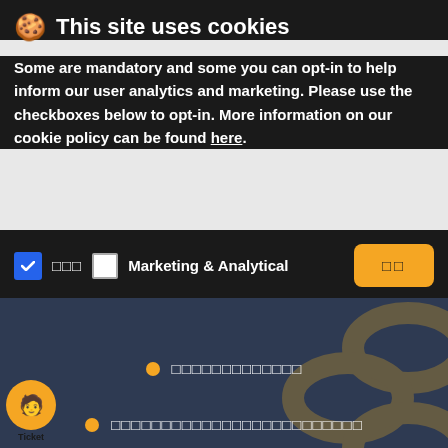🍪 This site uses cookies
Some are mandatory and some you can opt-in to help inform our user analytics and marketing. Please use the checkboxes below to opt-in. More information on our cookie policy can be found here.
☑ □□□   □ Marketing & Analytical   [OK button]
[Figure (screenshot): Dark blue hero banner with two bullet points with orange dots and white square-character placeholder text, with decorative gold chain/link graphics on the right side]
How to Buy Litecoin on XMLGold
With cryptocurrencies, online wallets, and other payment methods.
XMLGold is the best place to buy, sell or exchange Litecoin easily. Signing up for an XMLGold account will allow you to buy and sell crypto and e-currency with ease. XMLGold e-currency and cryptocurrency exchange aims to make financial services accessible to millions of the under-banked individuals worldwide. We give you the freedom to convert your money for Litecoin and